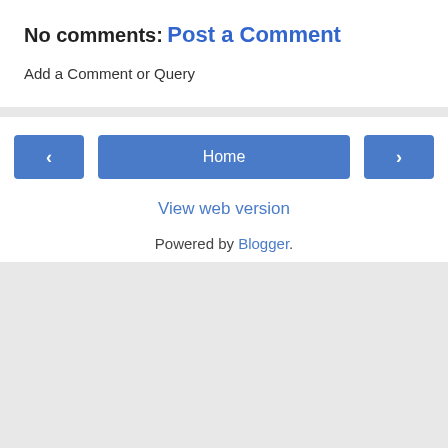No comments:
Post a Comment
Add a Comment or Query
Home
View web version
Powered by Blogger.